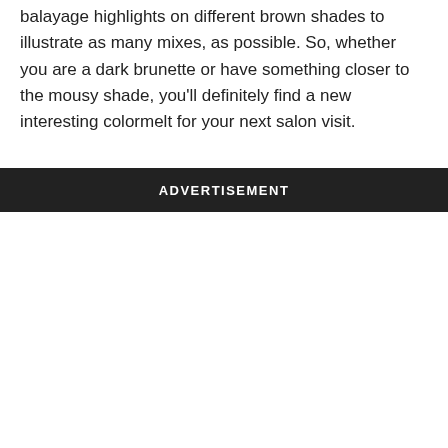balayage highlights on different brown shades to illustrate as many mixes, as possible. So, whether you are a dark brunette or have something closer to the mousy shade, you'll definitely find a new interesting colormelt for your next salon visit.
ADVERTISEMENT